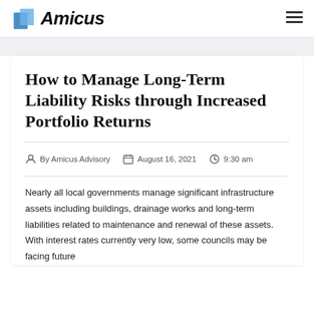Amicus
How to Manage Long-Term Liability Risks through Increased Portfolio Returns
By Amicus Advisory   August 16, 2021   9:30 am
Nearly all local governments manage significant infrastructure assets including buildings, drainage works and long-term liabilities related to maintenance and renewal of these assets.  With interest rates currently very low, some councils may be facing future